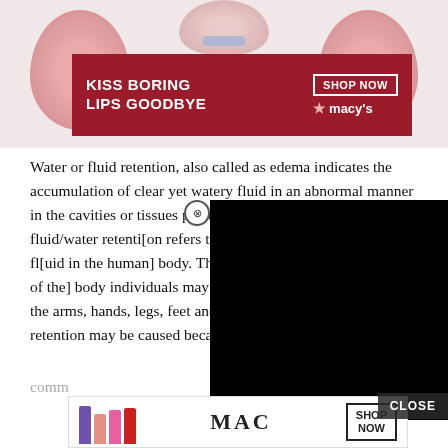[Figure (illustration): Medical illustration showing kidneys and anatomical structures, overlaid with a Macy's lipstick advertisement banner reading 'KISS BORING LIPS GOODBYE' with 'SHOP NOW' and Macy's star logo]
Water or fluid retention, also called as edema indicates the accumulation of clear yet watery fluid in an abnormal manner in the cavities or tissues present [obscured]. In simple words, fluid/water retention [obscured] the excess amount of trapped fl[uid in the] body. The problem may affect al[l parts of the] body individuals may often notice the problem more in the arms, hands, legs, feet and ankles. Edema or water retention may be caused because of many reasons, but it is ver[y comm]on...
[Figure (screenshot): Black rectangle covering part of the text (video player overlay) with X close button]
[Figure (illustration): MAC cosmetics advertisement showing lipsticks in purple, peach, pink and red colors with MAC logo and SHOP NOW button]